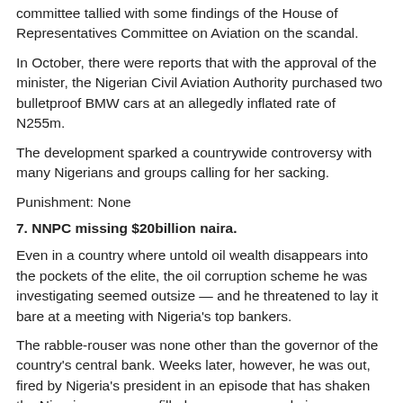committee tallied with some findings of the House of Representatives Committee on Aviation on the scandal.
In October, there were reports that with the approval of the minister, the Nigerian Civil Aviation Authority purchased two bulletproof BMW cars at an allegedly inflated rate of N255m.
The development sparked a countrywide controversy with many Nigerians and groups calling for her sacking.
Punishment: None
7. NNPC missing $20billion naira.
Even in a country where untold oil wealth disappears into the pockets of the elite, the oil corruption scheme he was investigating seemed outsize — and he threatened to lay it bare at a meeting with Nigeria's top bankers.
The rabble-rouser was none other than the governor of the country's central bank. Weeks later, however, he was out, fired by Nigeria's president in an episode that has shaken the Nigerian economy, filled newspapers and airwaves here, and even inspired a rare street demonstration.